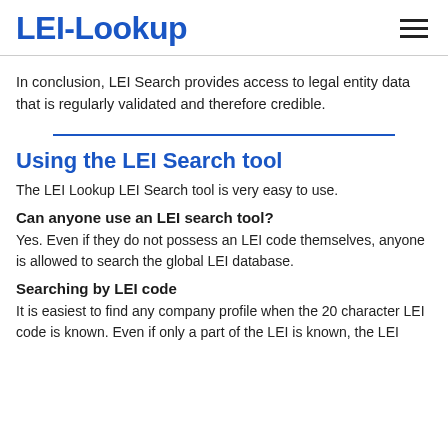LEI-Lookup
In conclusion, LEI Search provides access to legal entity data that is regularly validated and therefore credible.
Using the LEI Search tool
The LEI Lookup LEI Search tool is very easy to use.
Can anyone use an LEI search tool?
Yes. Even if they do not possess an LEI code themselves, anyone is allowed to search the global LEI database.
Searching by LEI code
It is easiest to find any company profile when the 20 character LEI code is known. Even if only a part of the LEI is known, the LEI